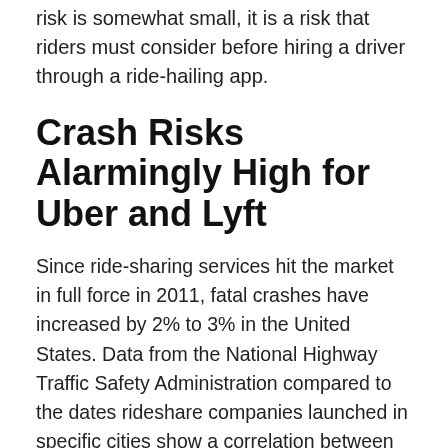risk is somewhat small, it is a risk that riders must consider before hiring a driver through a ride-hailing app.
Crash Risks Alarmingly High for Uber and Lyft
Since ride-sharing services hit the market in full force in 2011, fatal crashes have increased by 2% to 3% in the United States. Data from the National Highway Traffic Safety Administration compared to the dates rideshare companies launched in specific cities show a correlation between these ride-sharing apps and a jump in fatal crashes. In addition, these services increase the risk of congestion and decrease the use of public transit options in large cities when they launch.
Though no specific connection between Uber and Lyft and increased crashes has been shown, the...